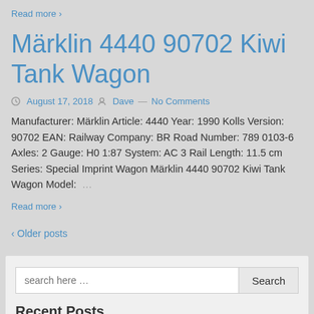Read more ›
Märklin 4440 90702 Kiwi Tank Wagon
August 17, 2018   Dave  —  No Comments
Manufacturer: Märklin Article: 4440 Year: 1990 Kolls Version: 90702 EAN: Railway Company: BR Road Number: 789 0103-6 Axles: 2 Gauge: H0 1:87 System: AC 3 Rail Length: 11.5 cm Series: Special Imprint Wagon Märklin 4440 90702 Kiwi Tank Wagon Model:  …
Read more ›
‹ Older posts
search here …
Recent Posts